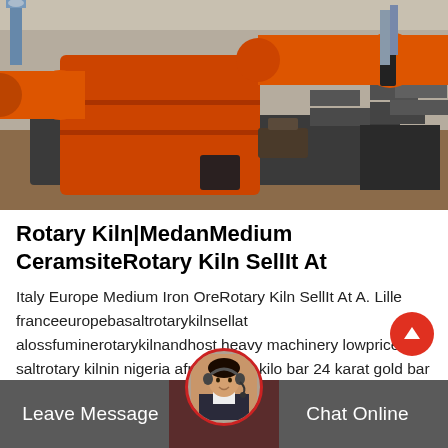[Figure (photo): Industrial rotary kiln equipment — large orange cylindrical drums mounted on concrete foundations at an industrial/construction site, with machinery and stacked materials visible in the background.]
Rotary Kiln|MedanMedium CeramsiteRotary Kiln SellIt At
Italy Europe Medium Iron OreRotary Kiln SellIt At A. Lille franceeuropebasaltrotarykilnsellat alossfuminerotarykilnandhost heavy machinery lowpricenew saltrotary kilnin nigeria africa buy 1 kilo bar 24 karat gold bar 9999 pure gold low the answer is a ki...
Leave Message   Chat Online